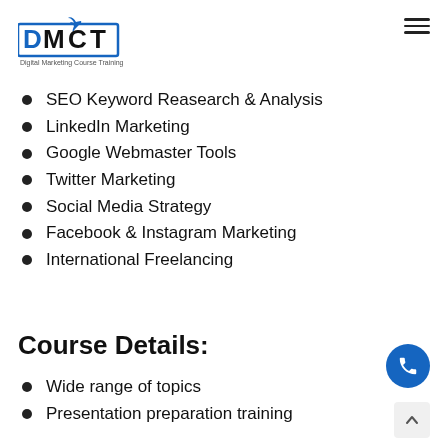[Figure (logo): DMCT Digital Marketing Course Training logo - blue text with bird icon]
SEO Keyword Reasearch & Analysis
LinkedIn Marketing
Google Webmaster Tools
Twitter Marketing
Social Media Strategy
Facebook & Instagram Marketing
International Freelancing
Course Details:
Wide range of topics
Presentation preparation training